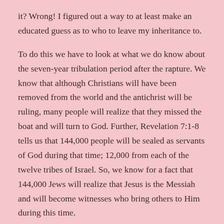it?  Wrong!  I figured out a way to at least make an educated guess as to who to leave my inheritance to.
To do this we have to look at what we do know about the seven-year tribulation period after the rapture.  We know that although Christians will have been removed from the world and the antichrist will be ruling, many people will realize that they missed the boat and will turn to God.  Further, Revelation 7:1-8 tells us that 144,000 people will be sealed as servants of God during that time; 12,000 from each of the twelve tribes of Israel.  So, we know for a fact that 144,000 Jews will realize that Jesus is the Messiah and will become witnesses who bring others to Him during this time.
Now that we have this information to go on, I can